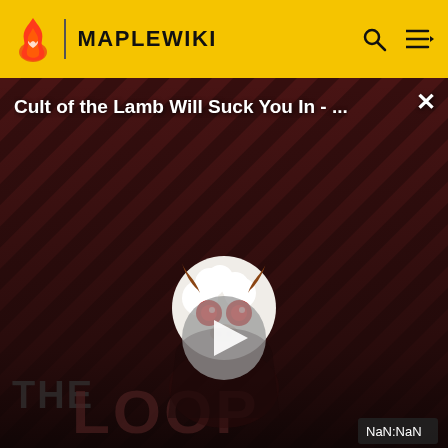MAPLEWIKI
[Figure (screenshot): Video thumbnail showing 'Cult of the Lamb Will Suck You In - ...' with a lamb character mascot on a dark red diagonal-striped background, a play button in the center, 'THE LOOP' text at the bottom left, a close button (X) at top right, and a NaN:NaN timestamp label at bottom right.]
|  |  |
| --- | --- |
| Other |  |
|  |  |
| Category | Enchanted |
|  |  |
| Summons | *Spirit Viking
• Giagantic Spirit Viking |